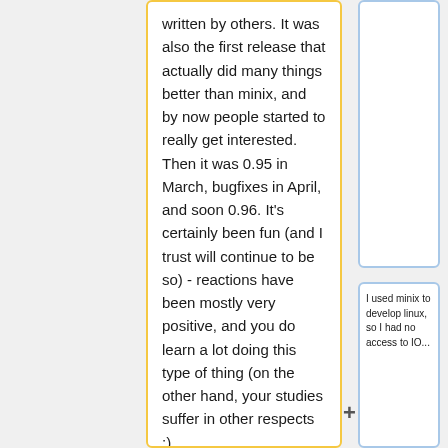written by others. It was also the first release that actually did many things better than minix, and by now people started to really get interested. Then it was 0.95 in March, bugfixes in April, and soon 0.96. It's certainly been fun (and I trust will continue to be so) - reactions have been mostly very positive, and you do learn a lot doing this type of thing (on the other hand, your studies suffer in other respects :)
I used minix to develop linux, so I had no access to IO...